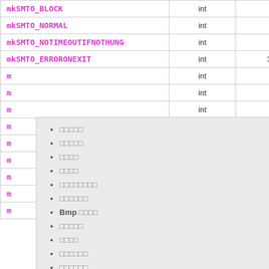| Name | Type | Value |
| --- | --- | --- |
| mkSMTO_BLOCK | int | 1 |
| mkSMTO_NORMAL | int | 0 |
| mkSMTO_NOTIMEOUTIFNOTHUNG | int | 8 |
| mkSMTO_ERRORONEXIT | int | 32 |
| m… | int | 0 |
| m… | int | 1 |
| m… | int | 2 |
| m… | int | 3 |
| m… | int | 4 |
| m… | int | 5 |
| m… | int | 6 |
| m… | int | 4 |
| m… | int | 3 |